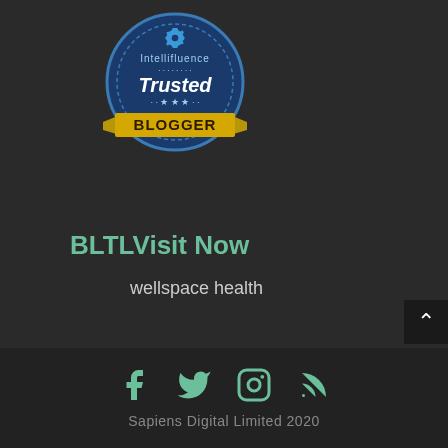[Figure (logo): Intellifluence Trusted Blogger badge - circular blue badge with gold ribbon banner reading BLOGGER]
BLTLVisit Now
wellspace health
[Figure (infographic): Four social media icons: Facebook, Twitter, Instagram, RSS feed - all in green color]
Sapiens Digital Limited 2020